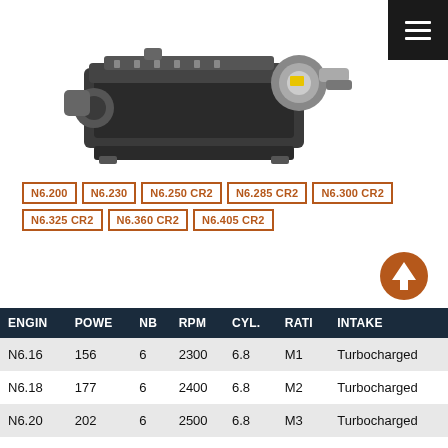[Figure (photo): Industrial diesel engine with turbocharger, viewed from above-side angle. Dark/grey metallic engine block with various components visible.]
N6.200
N6.230
N6.250 CR2
N6.285 CR2
N6.300 CR2
N6.325 CR2
N6.360 CR2
N6.405 CR2
[Figure (illustration): Circular upward arrow icon in brown/copper color on white background, indicating scroll to top.]
| ENGIN | POWE | NB | RPM | CYL. | RATI | INTAKE |
| --- | --- | --- | --- | --- | --- | --- |
| N6.16 | 156 | 6 | 2300 | 6.8 | M1 | Turbocharged |
| N6.18 | 177 | 6 | 2400 | 6.8 | M2 | Turbocharged |
| N6.20 | 202 | 6 | 2500 | 6.8 | M3 | Turbocharged |
| N6.23 | 228 | 6 | 2600 | 6.8 | M3 | Turbocharged |